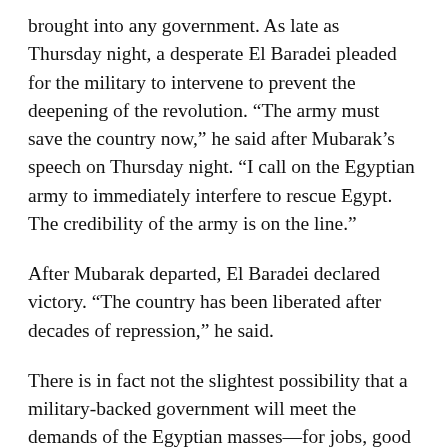brought into any government. As late as Thursday night, a desperate El Baradei pleaded for the military to intervene to prevent the deepening of the revolution. "The army must save the country now," he said after Mubarak's speech on Thursday night. "I call on the Egyptian army to immediately interfere to rescue Egypt. The credibility of the army is on the line."
After Mubarak departed, El Baradei declared victory. "The country has been liberated after decades of repression," he said.
There is in fact not the slightest possibility that a military-backed government will meet the demands of the Egyptian masses—for jobs, good wages, and housing. The Egyptian military government is itself profoundly committed to the existing order. Its leading figures are deeply integrated into the business enterprises, and it has been for more than three decades the basic guarantor of